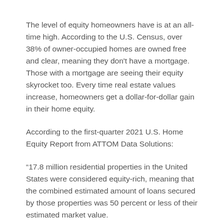The level of equity homeowners have is at an all-time high. According to the U.S. Census, over 38% of owner-occupied homes are owned free and clear, meaning they don't have a mortgage. Those with a mortgage are seeing their equity skyrocket too. Every time real estate values increase, homeowners get a dollar-for-dollar gain in their home equity.
According to the first-quarter 2021 U.S. Home Equity Report from ATTOM Data Solutions:
“17.8 million residential properties in the United States were considered equity-rich, meaning that the combined estimated amount of loans secured by those properties was 50 percent or less of their estimated market value.